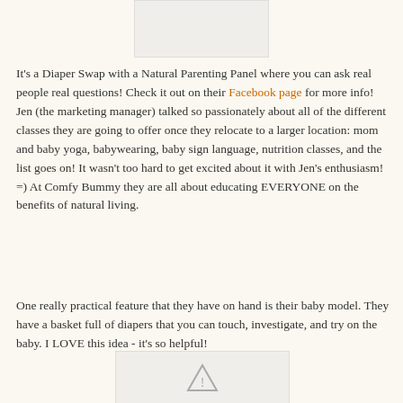[Figure (photo): Partially visible image placeholder at top center of page]
It's a Diaper Swap with a Natural Parenting Panel where you can ask real people real questions! Check it out on their Facebook page for more info! Jen (the marketing manager) talked so passionately about all of the different classes they are going to offer once they relocate to a larger location: mom and baby yoga, babywearing, baby sign language, nutrition classes, and the list goes on! It wasn't too hard to get excited about it with Jen's enthusiasm! =) At Comfy Bummy they are all about educating EVERYONE on the benefits of natural living.
One really practical feature that they have on hand is their baby model. They have a basket full of diapers that you can touch, investigate, and try on the baby. I LOVE this idea - it's so helpful!
[Figure (photo): Image placeholder at bottom with warning/broken image icon]